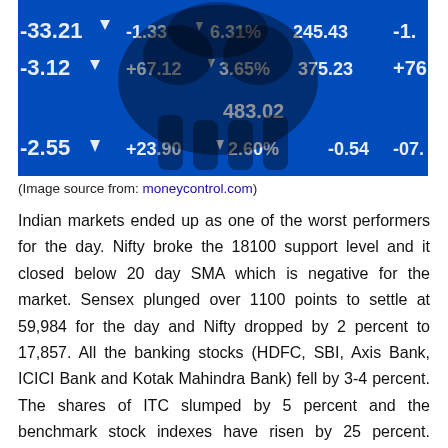[Figure (photo): Stock market ticker board showing blue financial data with a silhouette of a bear overlaid, displaying numbers like -1.33, 6.31%, 245.43, -33.21, -3.12, +67.12, 3.65%, 375.23, +76, -2.55, +23.90, 2.60%, 483.02, -0.54]
(Image source from: moneycontrol.com)
Indian markets ended up as one of the worst performers for the day. Nifty broke the 18100 support level and it closed below 20 day SMA which is negative for the market. Sensex plunged over 1100 points to settle at 59,984 for the day and Nifty dropped by 2 percent to 17,857. All the banking stocks (HDFC, SBI, Axis Bank, ICICI Bank and Kotak Mahindra Bank) fell by 3-4 percent. The shares of ITC slumped by 5 percent and the benchmark stock indexes have risen by 25 percent. Analysts say selling by FIIs is a key reason for the correction in the market. FIIs sold over Rs 10,000 crores in the five